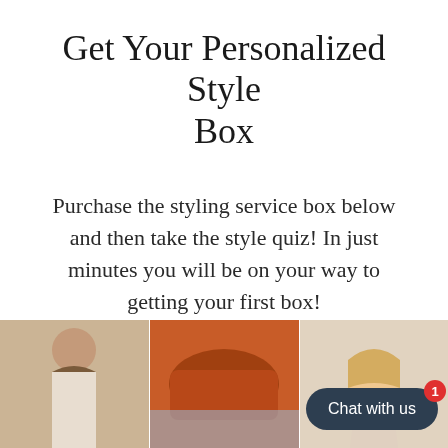Get Your Personalized Style Box
Purchase the styling service box below and then take the style quiz! In just minutes you will be on your way to getting your first box!
[Figure (photo): Three photos side by side at the bottom: left shows a woman in beige top with hair up, middle shows orange/brown boots or shoes on a sofa, right shows a smiling woman with blonde hair]
Chat with us